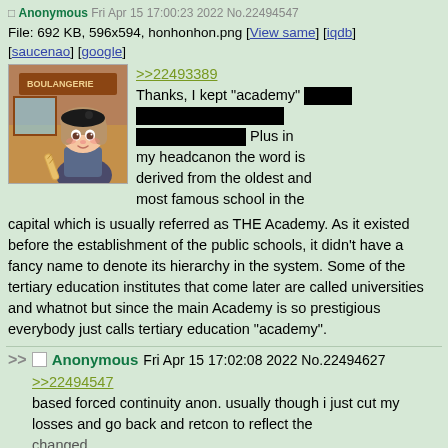File: 692 KB, 596x594, honhonhon.png [View same] [iqdb] [saucenao] [google]
[Figure (illustration): Anime-style girl with brown hair wearing a black beret, holding a baguette, in front of a French-style bakery background]
>>22493389
Thanks, I kept "academy" [redacted] [redacted] Plus in my headcanon the word is derived from the oldest and most famous school in the capital which is usually referred as THE Academy. As it existed before the establishment of the public schools, it didn't have a fancy name to denote its hierarchy in the system. Some of the tertiary education institutes that come later are called universities and whatnot but since the main Academy is so prestigious everybody just calls tertiary education "academy".
>> Anonymous Fri Apr 15 17:02:08 2022 No.22494627
>>22494547
based forced continuity anon. usually though i just cut my losses and go back and retcon to reflect the changed.